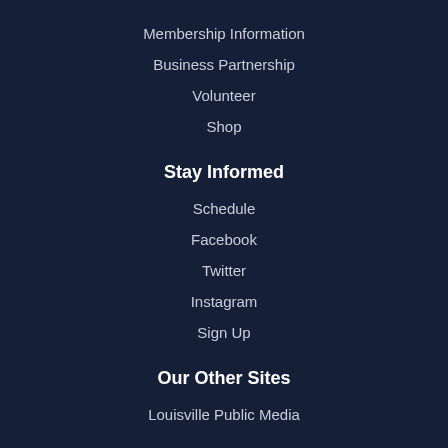Membership Information
Business Partnership
Volunteer
Shop
Stay Informed
Schedule
Facebook
Twitter
Instagram
Sign Up
Our Other Sites
Louisville Public Media